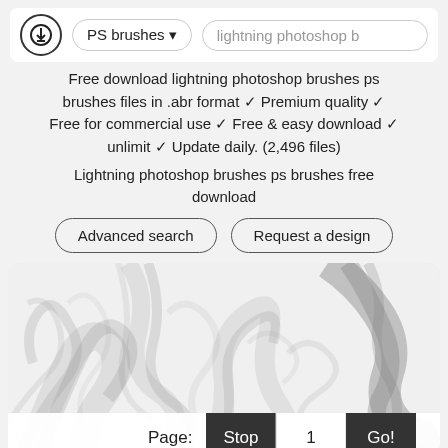PS brushes ▾   lightning photoshop b
Free download lightning photoshop brushes ps brushes files in .abr format ✓ Premium quality ✓ Free for commercial use ✓ Free & easy download ✓ unlimit ✓ Update daily. (2,496 files)
Lightning photoshop brushes ps brushes free download
[Figure (screenshot): Two pill-shaped buttons: 'Advanced search' and 'Request a design']
[Figure (illustration): Smoke/ink brushes preview image on white background showing swirling dark smoke patterns]
Page: Stop 1 Go!
Advance Search
Advance Search   [Facebook] [Twitter] [+] Top